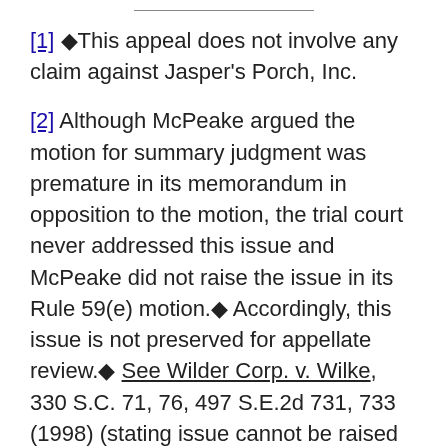[1] This appeal does not involve any claim against Jasper's Porch, Inc.
[2] Although McPeake argued the motion for summary judgment was premature in its memorandum in opposition to the motion, the trial court never addressed this issue and McPeake did not raise the issue in its Rule 59(e) motion. Accordingly, this issue is not preserved for appellate review. See Wilder Corp. v. Wilke, 330 S.C. 71, 76, 497 S.E.2d 731, 733 (1998) (stating issue cannot be raised for the first time on appeal but must have been raised to and ruled upon by the trial judge to be preserved for appellate review). We further note that a motion for continuance was never filed by McPeake. Nonetheless, there was ample time to conduct